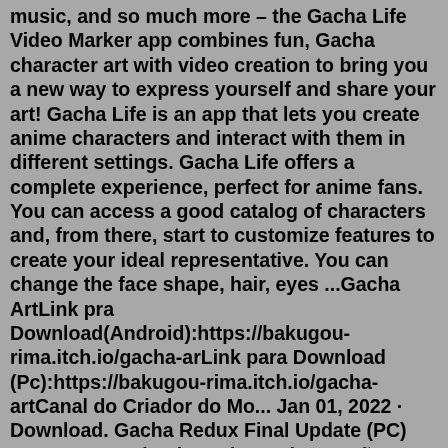music, and so much more – the Gacha Life Video Marker app combines fun, Gacha character art with video creation to bring you a new way to express yourself and share your art! Gacha Life is an app that lets you create anime characters and interact with them in different settings. Gacha Life offers a complete experience, perfect for anime fans. You can access a good catalog of characters and, from there, start to customize features to create your ideal representative. You can change the face shape, hair, eyes ...Gacha ArtLink pra Download(Android):https://bakugou-rima.itch.io/gacha-arLink para Download (Pc):https://bakugou-rima.itch.io/gacha-artCanal do Criador do Mo... Jan 01, 2022 · Download. Gacha Redux Final Update (PC) 137 MB. Download. Gacha Redux Opção 1 (Android Only) 134 MB. Download. Gacha Redux Opção 2 (Android Only) 134 MB. Search for the most popular GACHA LIFE Images on Picsart and choose from thousands of visuals added